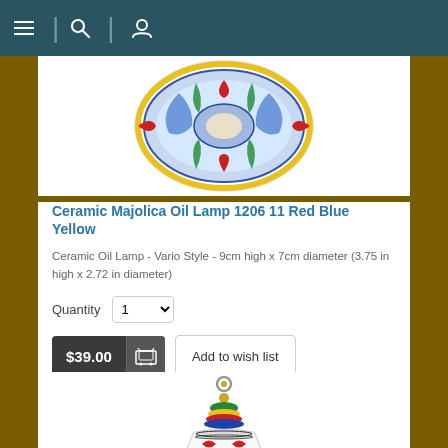Navigation bar with menu, search, and user icons
[Figure (photo): Top view of a colorful Ceramic Majolica Oil Lamp showing blue, red, yellow, green decorative patterns on a round ceramic body]
Ceramic Majolica Oil Lamp 1206 11 Red Blue Yellow
Ceramic Oil Lamp - Vario Style - 9cm high x 7cm diameter (3.75 in high x 2.72 in diameter)
Quantity  1
$39.00  Add to wish list
Tweet  Save  0
[Figure (photo): Side view of a colorful Ceramic Majolica Oil Lamp showing multicolored decorative bands around a round ceramic body with a hook at the top]